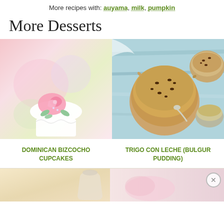More recipes with: auyama, milk, pumpkin
More Desserts
[Figure (photo): Close-up photo of a decorated cupcake with pink and mint green frosting flowers on a floral background]
[Figure (photo): Overhead photo of bulgur pudding in ceramic bowls with chocolate chips on a teal wooden surface with sugar bowl]
DOMINICAN BIZCOCHO CUPCAKES
TRIGO CON LECHE (BULGUR PUDDING)
[Figure (photo): Partially visible dessert photo in bottom strip, left side]
[Figure (photo): Partially visible dessert photo in bottom strip, right side]